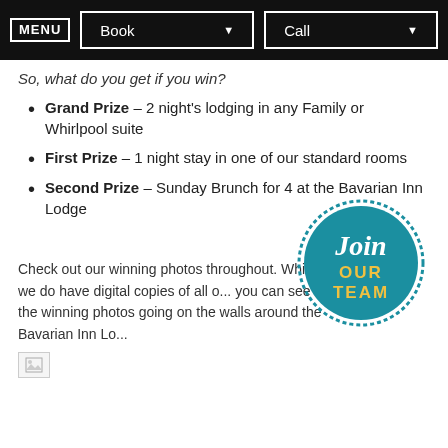[Figure (screenshot): Navigation bar with MENU, Book dropdown, and Call dropdown buttons on black background]
So, what do you get if you win?
Grand Prize – 2 night's lodging in any Family or Whirlpool suite
First Prize – 1 night stay in one of our standard rooms
Second Prize – Sunday Brunch for 4 at the Bavarian Inn Lodge
[Figure (logo): Join Our Team circular badge in teal with dotted border]
Check out our winning photos throughout. While we do have digital copies of all o... you can see the winning photos going on the walls around the Bavarian Inn Lo...
[Figure (photo): Small broken image placeholder icon]